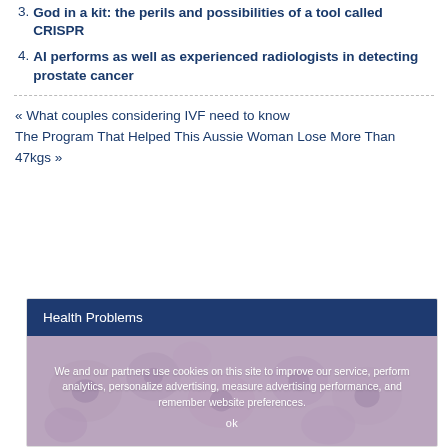3. God in a kit: the perils and possibilities of a tool called CRISPR
4. AI performs as well as experienced radiologists in detecting prostate cancer
« What couples considering IVF need to know
The Program That Helped This Aussie Woman Lose More Than 47kgs »
Health Problems
[Figure (photo): Microscopy image of cells, partially obscured by cookie consent overlay reading: We and our partners use cookies on this site to improve our service, perform analytics, personalize advertising, measure advertising performance, and remember website preferences. OK]